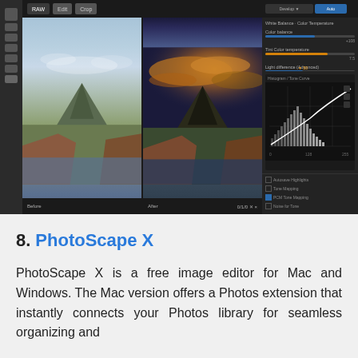[Figure (screenshot): A photo editing software interface showing a before/after comparison of a landscape photograph featuring a mountain, coastal cliffs, and sea. The before image is lighter with a pale sky; the after image shows dramatic warm golden tones in the sky. A right panel shows editing controls, sliders, and a histogram.]
8. PhotoScape X
PhotoScape X is a free image editor for Mac and Windows. The Mac version offers a Photos extension that instantly connects your Photos library for seamless organizing and